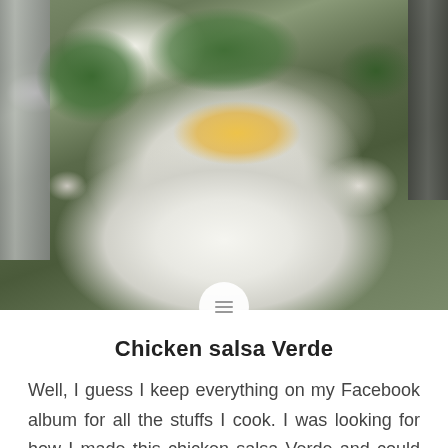[Figure (photo): A plate of chicken salsa verde served over white rice, topped with shredded yellow cheese and fresh green cilantro/herbs. A fork is visible on the left and dark utensil on the right. A circular menu button overlay appears at the bottom of the photo.]
Chicken salsa Verde
Well, I guess I keep everything on my Facebook album for all the stuffs I cook. I was looking for how I made this chicken salsa Verde and could not find it here. It is my son's favorite. I usually serve them with